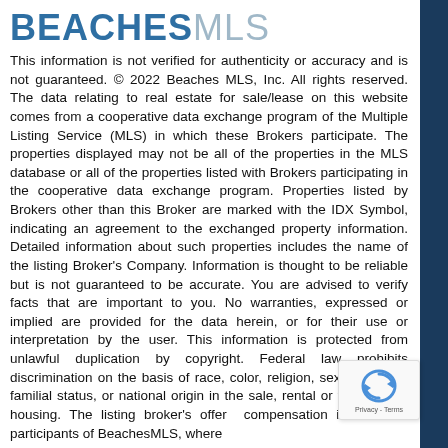[Figure (logo): Beaches MLS logo — BEACHES in bold blue, MLS in light blue/grey]
This information is not verified for authenticity or accuracy and is not guaranteed. © 2022 Beaches MLS, Inc. All rights reserved. The data relating to real estate for sale/lease on this website comes from a cooperative data exchange program of the Multiple Listing Service (MLS) in which these Brokers participate. The properties displayed may not be all of the properties in the MLS database or all of the properties listed with Brokers participating in the cooperative data exchange program. Properties listed by Brokers other than this Broker are marked with the IDX Symbol, indicating an agreement to the exchanged property information. Detailed information about such properties includes the name of the listing Broker's Company. Information is thought to be reliable but is not guaranteed to be accurate. You are advised to verify facts that are important to you. No warranties, expressed or implied are provided for the data herein, or for their use or interpretation by the user. This information is protected from unlawful duplication by copyright. Federal law prohibits discrimination on the basis of race, color, religion, sex, handicap, familial status, or national origin in the sale, rental or financing of housing. The listing broker's offer of compensation is made to participants of BeachesMLS, where...